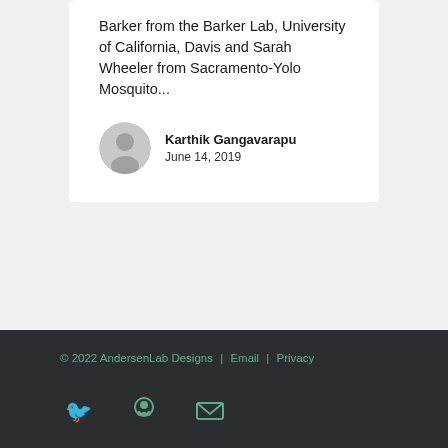Barker from the Barker Lab, University of California, Davis and Sarah Wheeler from Sacramento-Yolo Mosquito...
Karthik Gangavarapu
June 14, 2019
© 2022 AndersenLab Designs | Email | Privacy